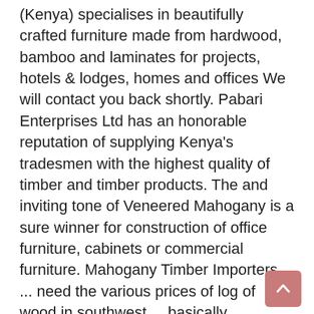(Kenya) specialises in beautifully crafted furniture made from hardwood, bamboo and laminates for projects, hotels & lodges, homes and offices We will contact you back shortly. Pabari Enterprises Ltd has an honorable reputation of supplying Kenya's tradesmen with the highest quality of timber and timber products. The and inviting tone of Veneered Mahogany is a sure winner for construction of office furniture, cabinets or commercial furniture. Mahogany Timber Importers ... need the various prices of log of wood in southwest.....basically mahogany afara etc Last Updated: Oct 09, 2018 ... Kenya. Wood Products (K) Ltd has carried out numerous interior fit out work for well renowned architects and clients. Find Mahogany Wood Suppliers. Brand new(2months old) mahogany 5 seater sofa sets. We also provide Edge Banding and MDF Cutting Services to cut this high-strength Black Cherry MDF boards as per your exact required size. We also provide Edge Banding and MDF Cutting Services to cut this high-strength Veneered Mahogany MDF boards as per your exact required size.